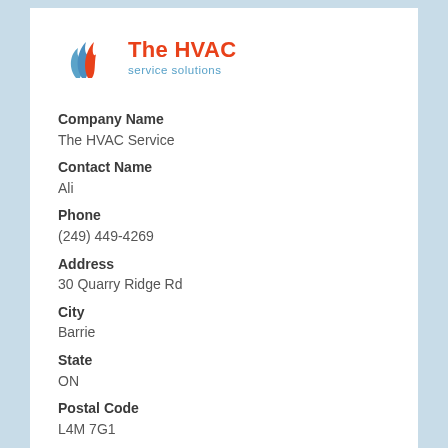[Figure (logo): The HVAC service solutions logo with flame icon in blue and red, and company name in red with subtitle in blue]
Company Name
The HVAC Service
Contact Name
Ali
Phone
(249) 449-4269
Address
30 Quarry Ridge Rd
City
Barrie
State
ON
Postal Code
L4M 7G1
Country
Canada
Website